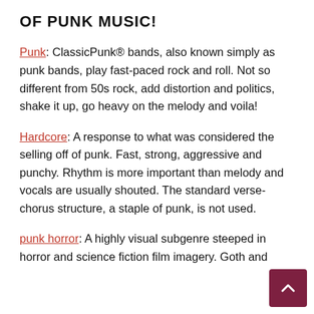OF PUNK MUSIC!
Punk: ClassicPunk® bands, also known simply as punk bands, play fast-paced rock and roll. Not so different from 50s rock, add distortion and politics, shake it up, go heavy on the melody and voila!
Hardcore: A response to what was considered the selling off of punk. Fast, strong, aggressive and punchy. Rhythm is more important than melody and vocals are usually shouted. The standard verse-chorus structure, a staple of punk, is not used.
punk horror: A highly visual subgenre steeped in horror and science fiction film imagery. Goth and